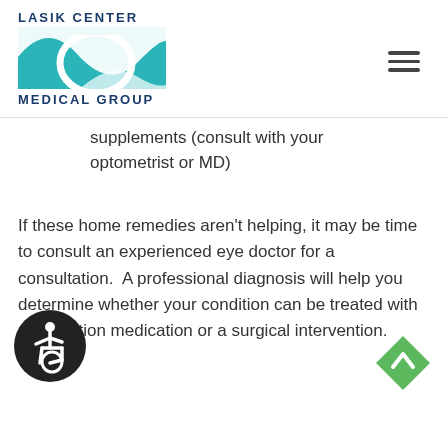[Figure (logo): Lasik Center Medical Group logo with teal wave graphic and blue bold text]
supplements (consult with your optometrist or MD)
If these home remedies aren't helping, it may be time to consult an experienced eye doctor for a consultation.  A professional diagnosis will help you determine whether your condition can be treated with prescription medication or a surgical intervention.
Dr. Alexandra Chebil is an Orange County experienced optometrist that